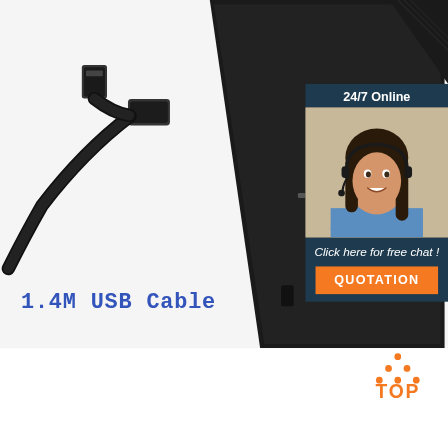[Figure (photo): Product photo showing a black USB cable with standard USB-A connector and mini USB connector on white/light background, alongside a black USB Reader device. Top-right corner shows another black device partially visible.]
[Figure (infographic): 24/7 Online chat widget with dark navy background showing a smiling woman customer service representative wearing a headset, with text 'Click here for free chat!' and an orange QUOTATION button below.]
1.4M USB Cable
[Figure (logo): Orange TOP icon with dots arranged in a triangle above the word TOP in orange letters]
Find Amazing Temperature Sensor Label For Enhanced ...
1/5. 72 degrees thermal paper temperature recorder temperature